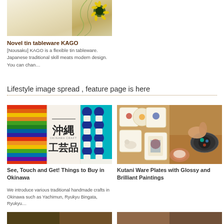[Figure (photo): Photo of tin tableware KAGO with yellow sunflower and green plant arrangement on light background]
Novel tin tableware KAGO
[Nousaku] KAGO is a flexible tin tableware. Japanese traditional skill meats modern design. You can chan…
Lifestyle image spread , feature page is here
[Figure (photo): Collage of three images: colorful striped fabric, Okinawa crafts sign with Japanese characters (沖縄工芸品), and blue dotted textile]
See, Touch and Get! Things to Buy in Okinawa
We introduce various traditional handmade crafts in Okinawa such as Yachimun, Ryukyu Bingata, Ryukyu…
[Figure (photo): Collage of two images: decorated Kutani ware plates and dishes with colorful paintings on wooden surface, and hands holding a dark patterned plate]
Kutani Ware Plates with Glossy and Brilliant Paintings
[Figure (photo): Bottom strip showing partial images of two more articles/products]